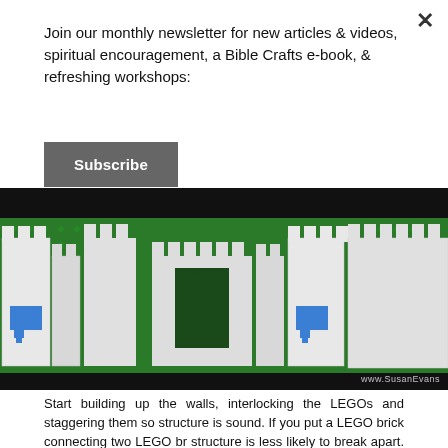Join our monthly newsletter for new articles & videos, spiritual encouragement, a Bible Crafts e-book, & refreshing workshops:
Subscribe
[Figure (photo): Photo of a LEGO structure built on a green baseplate, showing white LEGO walls with blue shield/cross designs, and a central arch entrance. Watermark reads www.SusanEvans]
Start building up the walls, interlocking the LEGOs and staggering them so structure is sound. If you put a LEGO brick connecting two LEGO br structure is less likely to break apart. You can insert a design on the fro different color, either in a shield shape or any other shape. The entrance made either as a rectangle or an arch. My son decided to make an arch w